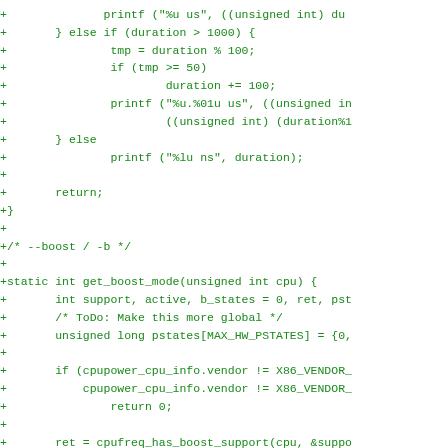Diff/patch code showing additions to C source code for CPU boost mode functionality